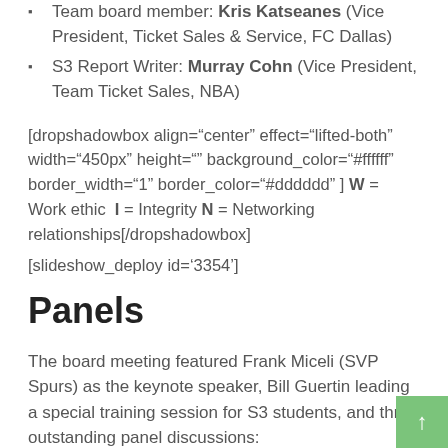Team board member: Kris Katseanes (Vice President, Ticket Sales & Service, FC Dallas)
S3 Report Writer: Murray Cohn (Vice President, Team Ticket Sales, NBA)
[dropshadowbox align="center" effect="lifted-both" width="450px" height="" background_color="#ffffff" border_width="1" border_color="#dddddd" ] W = Work ethic  I = Integrity N = Networking relationships[/dropshadowbox]
[slideshow_deploy id='3354']
Panels
The board meeting featured Frank Miceli (SVP Spurs) as the keynote speaker, Bill Guertin leading a special training session for S3 students, and three outstanding panel discussions: